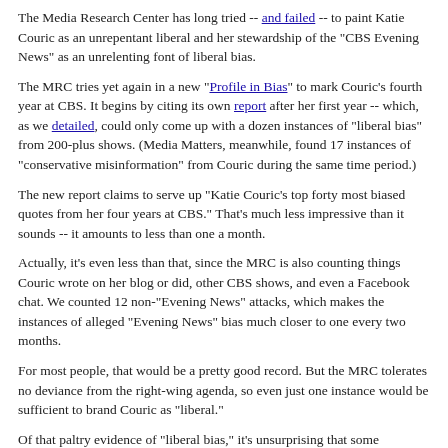The Media Research Center has long tried -- and failed -- to paint Katie Couric as an unrepentant liberal and her stewardship of the "CBS Evening News" as an unrelenting font of liberal bias.
The MRC tries yet again in a new "Profile in Bias" to mark Couric's fourth year at CBS. It begins by citing its own report after her first year -- which, as we detailed, could only come up with a dozen instances of "liberal bias" from 200-plus shows. (Media Matters, meanwhile, found 17 instances of "conservative misinformation" from Couric during the same time period.)
The new report claims to serve up "Katie Couric's top forty most biased quotes from her four years at CBS." That's much less impressive than it sounds -- it amounts to less than one a month.
Actually, it's even less than that, since the MRC is also counting things Couric wrote on her blog or did, other CBS shows, and even a Facebook chat. We counted 12 non-"Evening News" attacks, which makes the instances of alleged "Evening News" bias much closer to one every two months.
For most people, that would be a pretty good record. But the MRC tolerates no deviance from the right-wing agenda, so even just one instance would be sufficient to brand Couric as "liberal."
Of that paltry evidence of "liberal bias," it's unsurprising that some